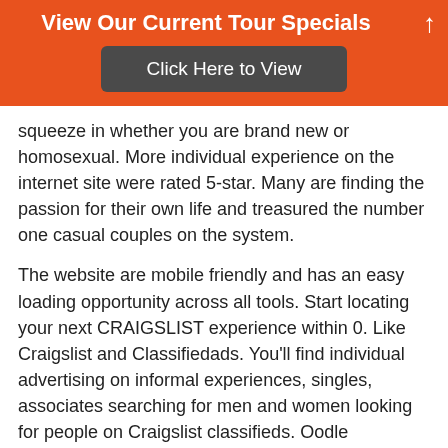View Our Current Tour Specials
[Figure (other): Click Here to View button — dark rounded rectangle button]
squeeze in whether you are brand new or homosexual. More individual experience on the internet site were rated 5-star. Many are finding the passion for their own life and treasured the number one casual couples on the system.
The website are mobile friendly and has an easy loading opportunity across all tools. Start locating your next CRAIGSLIST experience within 0. Like Craigslist and Classifiedads. You'll find individual advertising on informal experiences, singles, associates searching for men and women looking for people on Craigslist classifieds. Oodle Personals is a casino game changer.
Africa have the ability to browse a few individual sites immediately to get the best that suits your tastes. Basically, Oodle will be the google for personals. They populates many personal activities from newer web sites. It carefully queries and